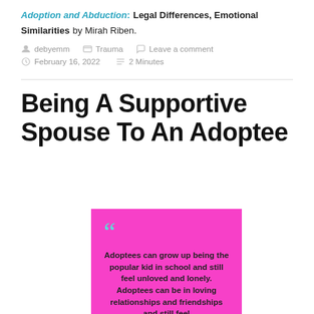Adoption and Abduction: Legal Differences, Emotional Similarities by Mirah Riben.
debyemm  Trauma  Leave a comment
February 16, 2022  2 Minutes
Being A Supportive Spouse To An Adoptee
[Figure (illustration): Pink quote box with teal quotation marks and bold text: 'Adoptees can grow up being the popular kid in school and still feel unloved and lonely. Adoptees can be in loving relationships and friendships and still feel']